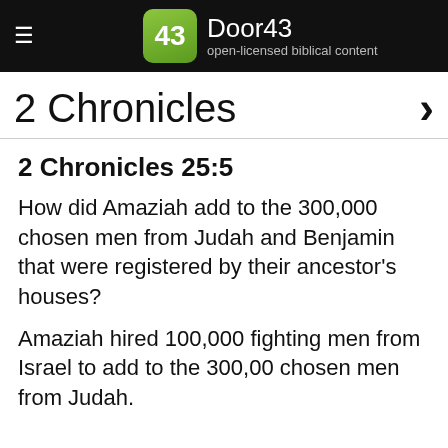Door43 — open-licensed biblical content
2 Chronicles
2 Chronicles 25:5
How did Amaziah add to the 300,000 chosen men from Judah and Benjamin that were registered by their ancestor's houses?
Amaziah hired 100,000 fighting men from Israel to add to the 300,00 chosen men from Judah.